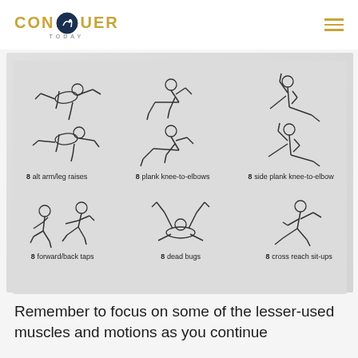CONQUER TODAY
[Figure (illustration): Exercise diagram showing 6 exercises in a 2x3 grid on a gray background: 8 alt arm/leg raises, 8 plank knee-to-elbows, 8 side plank knee-to-elbow, 8 forward/back taps, 8 dead bugs, 8 cross reach sit-ups. Each exercise is illustrated with line-drawn figures showing the movement.]
Remember to focus on some of the lesser-used muscles and motions as you continue